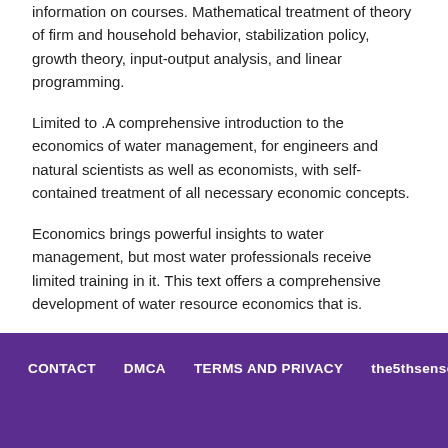information on courses. Mathematical treatment of theory of firm and household behavior, stabilization policy, growth theory, input-output analysis, and linear programming.
Limited to .A comprehensive introduction to the economics of water management, for engineers and natural scientists as well as economists, with self-contained treatment of all necessary economic concepts.
Economics brings powerful insights to water management, but most water professionals receive limited training in it. This text offers a comprehensive development of water resource economics that is.
CONTACT   DMCA   TERMS AND PRIVACY   the5thsense.com